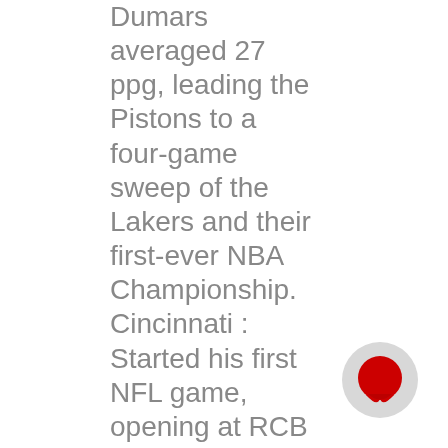Dumars averaged 27 ppg, leading the Pistons to a four-game sweep of the Lakers and their first-ever NBA Championship. Cincinnati : Started his first NFL game, opening at RCB with CB Davon House sidlining due
[Figure (illustration): Chat bubble icon — a circular grey button with a red speech bubble icon inside]